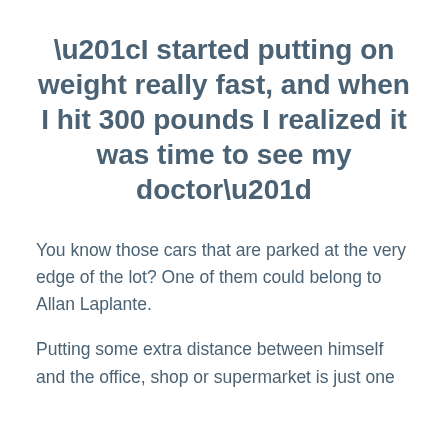“I started putting on weight really fast, and when I hit 300 pounds I realized it was time to see my doctor”
You know those cars that are parked at the very edge of the lot? One of them could belong to Allan Laplante.
Putting some extra distance between himself and the office, shop or supermarket is just one